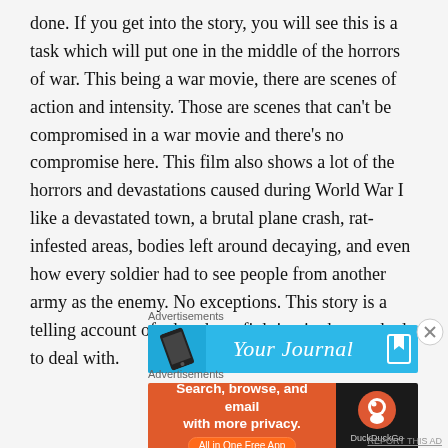done. If you get into the story, you will see this is a task which will put one in the middle of the horrors of war. This being a war movie, there are scenes of action and intensity. Those are scenes that can't be compromised in a war movie and there's no compromise here. This film also shows a lot of the horrors and devastations caused during World War I like a devastated town, a brutal plane crash, rat-infested areas, bodies left around decaying, and even how every soldier had to see people from another army as the enemy. No exceptions. This story is a telling account of what those fighting in the war had to deal with.
Advertisements
[Figure (screenshot): Advertisement banner for 'Your Journal' app with blue background, phone image on left, italic text 'Your Journal' in center, and bookmark icon on right]
Advertisements
[Figure (screenshot): DuckDuckGo advertisement: orange left panel with text 'Search, browse, and email with more privacy. All in One Free App' and dark right panel with DuckDuckGo logo and name]